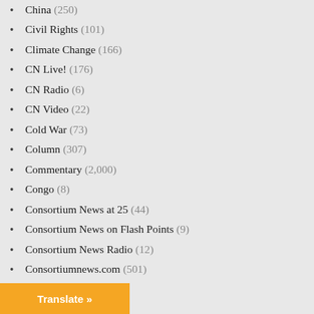China (250)
Civil Rights (101)
Climate Change (166)
CN Live! (176)
CN Radio (6)
CN Video (22)
Cold War (73)
Column (307)
Commentary (2,000)
Congo (8)
Consortium News at 25 (44)
Consortium News on Flash Points (9)
Consortium News Radio (12)
Consortiumnews.com (501)
Constitution (924)
COVID-19 (339)
Cuba (52)
Czech Republic (2)
Dag Hammarskjold (4)
Translate »